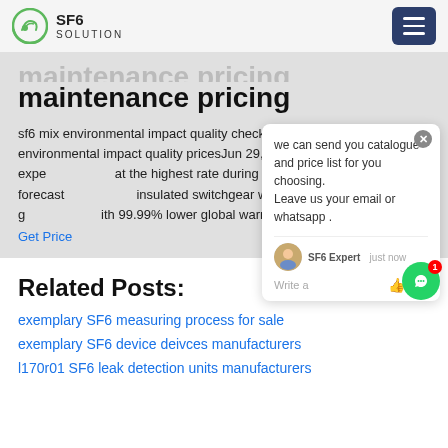SF6 SOLUTION
maintenance pricing
sf6 mix environmental impact quality check prices. sf6 mix environmental impact quality pricesJun 29, 2020SF6 free is expe at the highest rate during the forecast insulated switchgear which uses a g ith 99.99% lower global warming p m Schneider
Get Price
[Figure (screenshot): Chat popup overlay with message: we can send you catalogue and price list for you choosing. Leave us your email or whatsapp. SF6 Expert just now. Write a... with like and attachment icons.]
Related Posts:
exemplary SF6 measuring process for sale
exemplary SF6 device deivces manufacturers
l170r01 SF6 leak detection units manufacturers